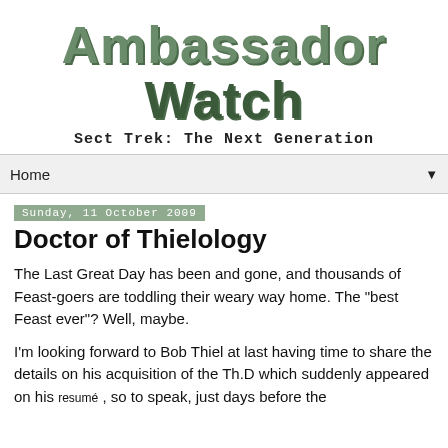Ambassador Watch
Sect Trek: The Next Generation
Home
Sunday, 11 October 2009
Doctor of Thielology
The Last Great Day has been and gone, and thousands of Feast-goers are toddling their weary way home. The "best Feast ever"? Well, maybe.
I'm looking forward to Bob Thiel at last having time to share the details on his acquisition of the Th.D which suddenly appeared on his resumé , so to speak, just days before the